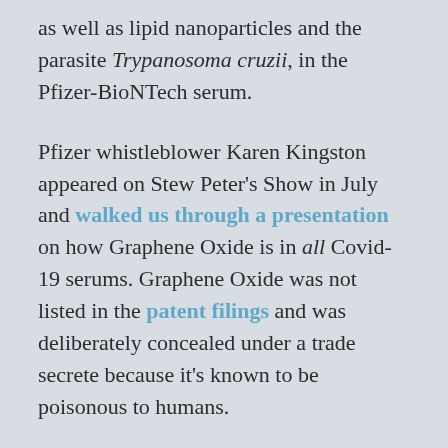as well as lipid nanoparticles and the parasite Trypanosoma cruzii, in the Pfizer-BioNTech serum.
Pfizer whistleblower Karen Kingston appeared on Stew Peter's Show in July and walked us through a presentation on how Graphene Oxide is in all Covid-19 serums. Graphene Oxide was not listed in the patent filings and was deliberately concealed under a trade secrete because it's known to be poisonous to humans.
As a result of these horrifying discoveries, I did my own research on Graphene Oxide Nanoparticles and Toxicity and wrote an article entitled "Graphene Oxide: The Va...